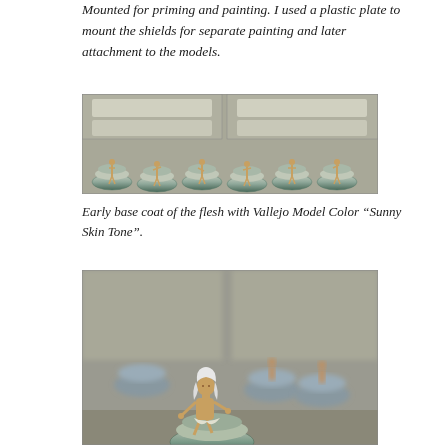Mounted for priming and painting. I used a plastic plate to mount the shields for separate painting and later attachment to the models.
[Figure (photo): Miniature figures mounted on spray paint can caps for priming and painting, arranged in rows against a background of plastic storage drawers.]
Early base coat of the flesh with Vallejo Model Color “Sunny Skin Tone”.
[Figure (photo): Close-up of a painted miniature figure with white hair in a dynamic pose, surrounded by other miniatures mounted on spray can caps, in front of plastic storage containers.]